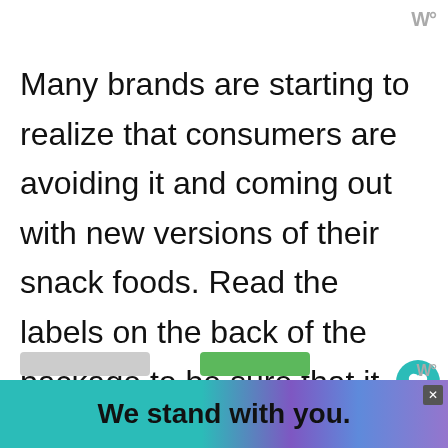W°
Many brands are starting to realize that consumers are avoiding it and coming out with new versions of their snack foods. Read the labels on the back of the package to be sure that it doesn't contain it. If you want to pack a healthy school
We use cookies on our website to give you the most relevant experience by remembering your preferences and repeat visits. By clicking "Accept All", you consent to the use of ALL the cookies. However, you may visit "Cookie Se... provide a controlled consent.
WHAT'S NEXT → Healthy Labor Day Party Tips
[Figure (screenshot): Advertisement banner with teal, purple, and blue gradient background reading 'We stand with you.' with a close button]
W°